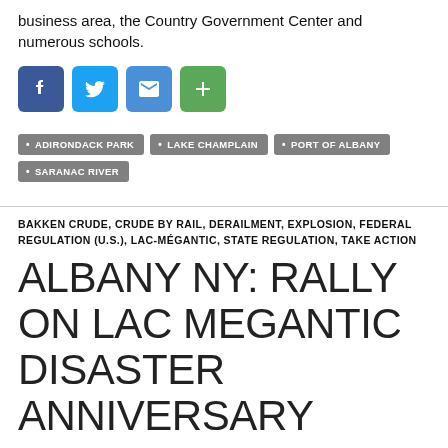business area, the Country Government Center and numerous schools.
[Figure (other): Social sharing buttons: Facebook, Twitter, Email, More (+)]
ADIRONDACK PARK
LAKE CHAMPLAIN
PORT OF ALBANY
SARANAC RIVER
BAKKEN CRUDE, CRUDE BY RAIL, DERAILMENT, EXPLOSION, FEDERAL REGULATION (U.S.), LAC-MÉGANTIC, STATE REGULATION, TAKE ACTION
ALBANY NY: RALLY ON LAC MEGANTIC DISASTER ANNIVERSARY